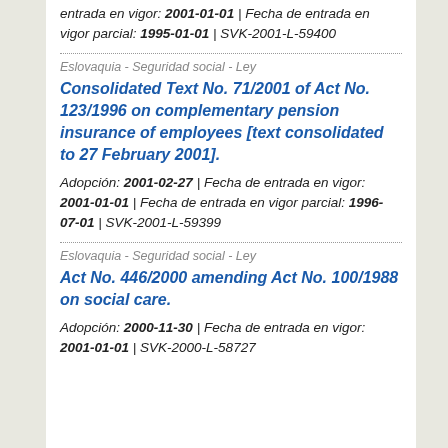entrada en vigor: 2001-01-01 | Fecha de entrada en vigor parcial: 1995-01-01 | SVK-2001-L-59400
Eslovaquia - Seguridad social - Ley
Consolidated Text No. 71/2001 of Act No. 123/1996 on complementary pension insurance of employees [text consolidated to 27 February 2001].
Adopción: 2001-02-27 | Fecha de entrada en vigor: 2001-01-01 | Fecha de entrada en vigor parcial: 1996-07-01 | SVK-2001-L-59399
Eslovaquia - Seguridad social - Ley
Act No. 446/2000 amending Act No. 100/1988 on social care.
Adopción: 2000-11-30 | Fecha de entrada en vigor: 2001-01-01 | SVK-2000-L-58727